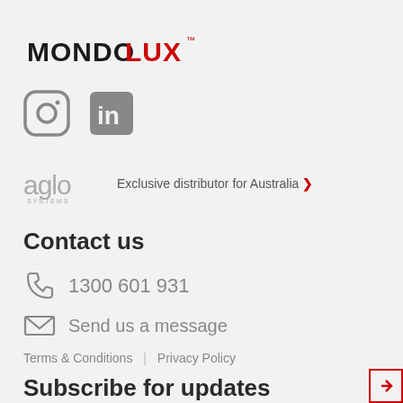[Figure (logo): MONDOLUX brand logo with MONDO in black bold and LUX in red bold, with TM superscript]
[Figure (infographic): Instagram and LinkedIn social media icons in grey]
[Figure (logo): aglo SYSTEMS logo followed by text: Exclusive distributor for Australia with a red chevron arrow]
Contact us
1300 601 931
Send us a message
Terms & Conditions | Privacy Policy
Subscribe for updates